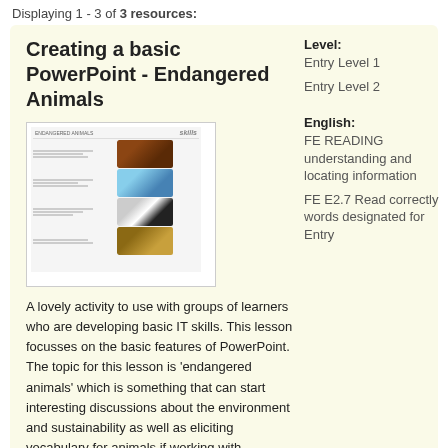Displaying 1 - 3 of 3 resources:
Creating a basic PowerPoint - Endangered Animals
[Figure (screenshot): Thumbnail preview of a worksheet about endangered animals showing text and animal images]
A lovely activity to use with groups of learners who are developing basic IT skills. This lesson focusses on the basic features of PowerPoint. The topic for this lesson is 'endangered animals' which is something that can start interesting discussions about the environment and sustainability as well as eliciting vocabulary for animals if working with EAL learners.
Level: Entry Level 1
Entry Level 2
English: FE READING understanding and locating information
FE E2.7 Read correctly words designated for Entry